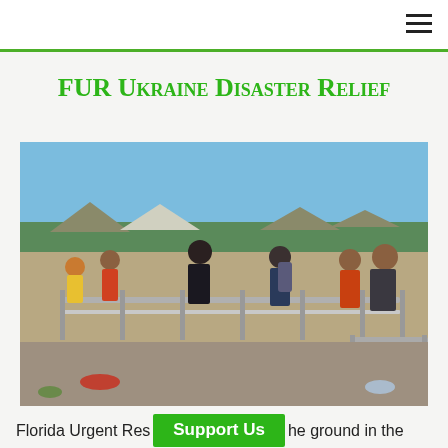≡
FUR Ukraine Disaster Relief
[Figure (photo): Crowd of people with luggage and backpacks standing at a refugee crossing point with metal crowd-control barriers, tents, and trees in the background under a clear blue sky.]
Florida Urgent Res[ponse] … [the ground] in the